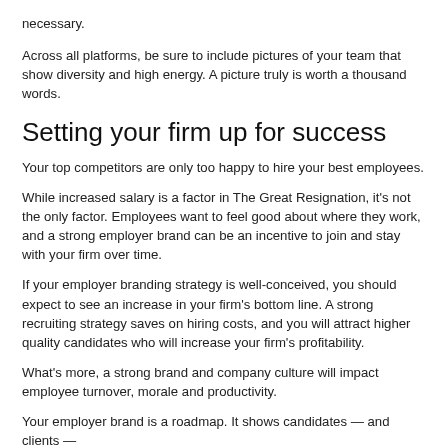necessary.
Across all platforms, be sure to include pictures of your team that show diversity and high energy. A picture truly is worth a thousand words.
Setting your firm up for success
Your top competitors are only too happy to hire your best employees.
While increased salary is a factor in The Great Resignation, it's not the only factor. Employees want to feel good about where they work, and a strong employer brand can be an incentive to join and stay with your firm over time.
If your employer branding strategy is well-conceived, you should expect to see an increase in your firm's bottom line. A strong recruiting strategy saves on hiring costs, and you will attract higher quality candidates who will increase your firm's profitability.
What's more, a strong brand and company culture will impact employee turnover, morale and productivity.
Your employer brand is a roadmap. It shows candidates — and clients —